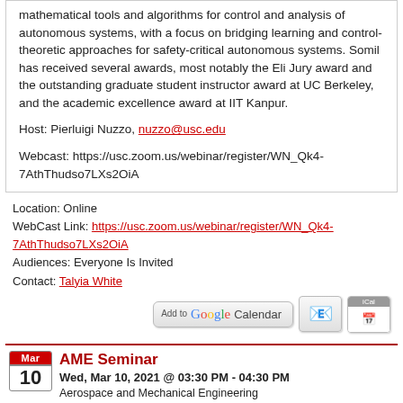mathematical tools and algorithms for control and analysis of autonomous systems, with a focus on bridging learning and control-theoretic approaches for safety-critical autonomous systems. Somil has received several awards, most notably the Eli Jury award and the outstanding graduate student instructor award at UC Berkeley, and the academic excellence award at IIT Kanpur.
Host: Pierluigi Nuzzo, nuzzo@usc.edu
Webcast: https://usc.zoom.us/webinar/register/WN_Qk4-7AthThudso7LXs2OiA
Location: Online
WebCast Link: https://usc.zoom.us/webinar/register/WN_Qk4-7AthThudso7LXs2OiA
Audiences: Everyone Is Invited
Contact: Talyia White
[Figure (other): Add to Google Calendar, Yahoo Calendar, and iCal buttons]
AME Seminar
Wed, Mar 10, 2021 @ 03:30 PM - 04:30 PM
Aerospace and Mechanical Engineering
Conferences, Lectures, & Seminars